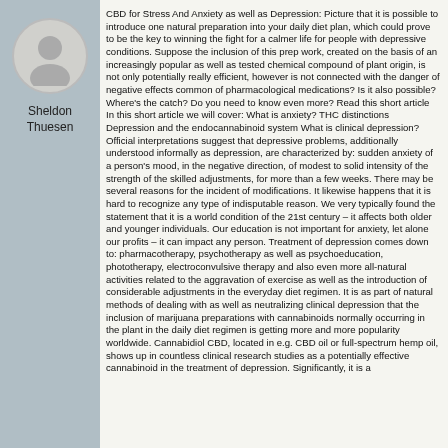[Figure (illustration): Circular avatar icon showing a generic grey person silhouette]
Sheldon Thuesen
CBD for Stress And Anxiety as well as Depression: Picture that it is possible to introduce one natural preparation into your daily diet plan, which could prove to be the key to winning the fight for a calmer life for people with depressive conditions. Suppose the inclusion of this prep work, created on the basis of an increasingly popular as well as tested chemical compound of plant origin, is not only potentially really efficient, however is not connected with the danger of negative effects common of pharmacological medications? Is it also possible? Where's the catch? Do you need to know even more? Read this short article In this short article we will cover: What is anxiety? THC distinctions Depression and the endocannabinoid system What is clinical depression? Official interpretations suggest that depressive problems, additionally understood informally as depression, are characterized by: sudden anxiety of a person's mood, in the negative direction, of modest to solid intensity of the strength of the skilled adjustments, for more than a few weeks. There may be several reasons for the incident of modifications. It likewise happens that it is hard to recognize any type of indisputable reason. We very typically found the statement that it is a world condition of the 21st century – it affects both older and younger individuals. Our education is not important for anxiety, let alone our profits – it can impact any person. Treatment of depression comes down to: pharmacotherapy, psychotherapy as well as psychoeducation, phototherapy, electroconvulsive therapy and also even more all-natural activities related to the aggravation of exercise as well as the introduction of considerable adjustments in the everyday diet regimen. It is as part of natural methods of dealing with as well as neutralizing clinical depression that the inclusion of marijuana preparations with cannabinoids normally occurring in the plant in the daily diet regimen is getting more and more popularity worldwide. Cannabidiol CBD, located in e.g. CBD oil or full-spectrum hemp oil, shows up in countless clinical research studies as a potentially effective cannabinoid in the treatment of depression. Significantly, it is a